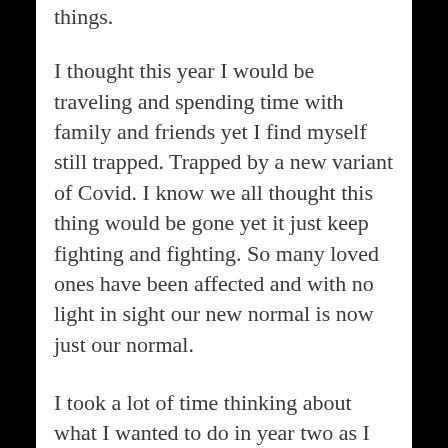things.
I thought this year I would be traveling and spending time with family and friends yet I find myself still trapped. Trapped by a new variant of Covid. I know we all thought this thing would be gone yet it just keep fighting and fighting. So many loved ones have been affected and with no light in sight our new normal is now just our normal.
I took a lot of time thinking about what I wanted to do in year two as I continue to make positive changes in my life. When I reflected I realized how much I had grown and how much better I feel. Depression did